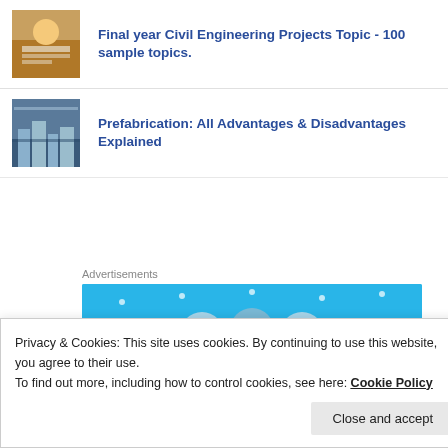[Figure (photo): Thumbnail of civil engineering workers/blueprints]
Final year Civil Engineering Projects Topic - 100 sample topics.
[Figure (photo): Thumbnail of prefabricated building/construction]
Prefabrication: All Advantages & Disadvantages Explained
Advertisements
[Figure (infographic): Blue advertisement banner with circular icons]
Privacy & Cookies: This site uses cookies. By continuing to use this website, you agree to their use.
To find out more, including how to control cookies, see here: Cookie Policy